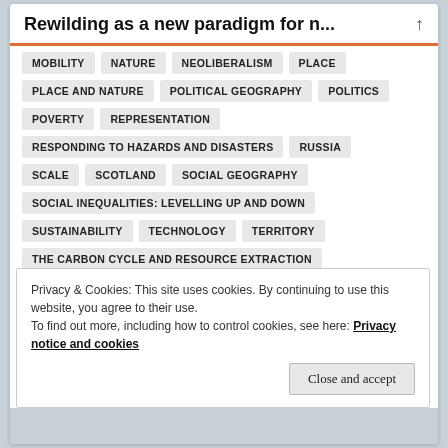Rewilding as a new paradigm for n...
MOBILITY
NATURE
NEOLIBERALISM
PLACE
PLACE AND NATURE
POLITICAL GEOGRAPHY
POLITICS
POVERTY
REPRESENTATION
RESPONDING TO HAZARDS AND DISASTERS
RUSSIA
SCALE
SCOTLAND
SOCIAL GEOGRAPHY
SOCIAL INEQUALITIES: LEVELLING UP AND DOWN
SUSTAINABILITY
TECHNOLOGY
TERRITORY
THE CARBON CYCLE AND RESOURCE EXTRACTION
Privacy & Cookies: This site uses cookies. By continuing to use this website, you agree to their use.
To find out more, including how to control cookies, see here: Privacy notice and cookies
Close and accept